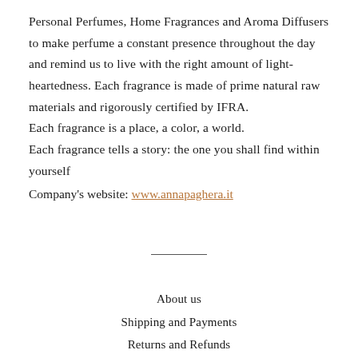Personal Perfumes, Home Fragrances and Aroma Diffusers to make perfume a constant presence throughout the day and remind us to live with the right amount of light-heartedness. Each fragrance is made of prime natural raw materials and rigorously certified by IFRA. Each fragrance is a place, a color, a world. Each fragrance tells a story: the one you shall find within yourself
Company's website: www.annapaghera.it
About us
Shipping and Payments
Returns and Refunds